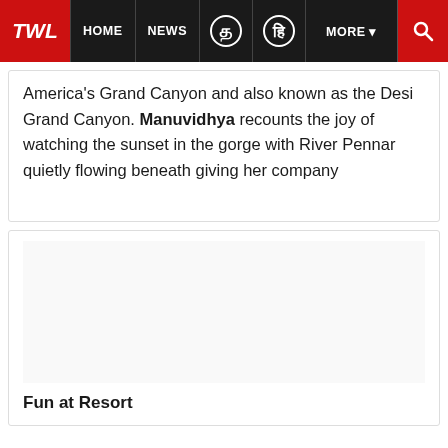TWL | HOME | NEWS | MORE
America's Grand Canyon and also known as the Desi Grand Canyon. Manuvidhya recounts the joy of watching the sunset in the gorge with River Pennar quietly flowing beneath giving her company
[Figure (photo): Empty white image placeholder area inside a card]
Fun at Resort